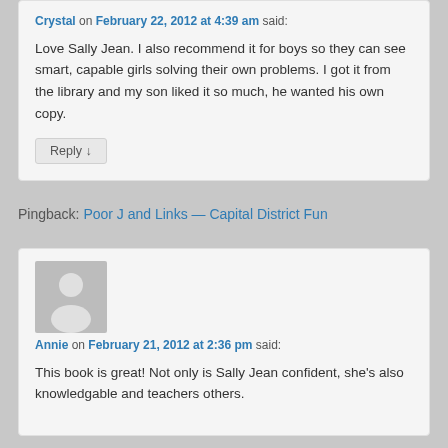Crystal on February 22, 2012 at 4:39 am said:
Love Sally Jean. I also recommend it for boys so they can see smart, capable girls solving their own problems. I got it from the library and my son liked it so much, he wanted his own copy.
Reply ↓
Pingback: Poor J and Links — Capital District Fun
[Figure (illustration): Generic avatar silhouette icon — grey background with white person outline]
Annie on February 21, 2012 at 2:36 pm said:
This book is great! Not only is Sally Jean confident, she's also knowledgable and teachers others.